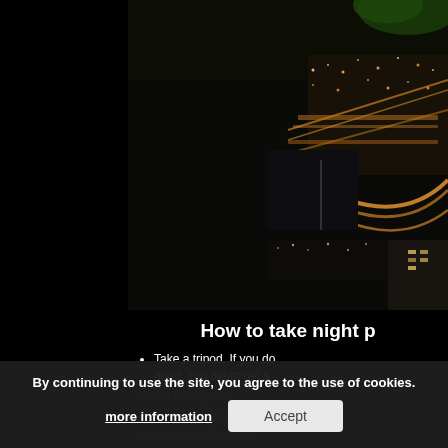[Figure (photo): Night aerial photograph of a city with illuminated roads, a bridge with light trails from traffic, and buildings lit up against a dark sky. The left portion of the page is black.]
How to take night p
Take a tripod. If you do... good. You might get s...
before this quality...
...ut the lens right up a... having a UV filter on y... to touch the window...
By continuing to use the site, you agree to the use of cookies.
more information
Accept